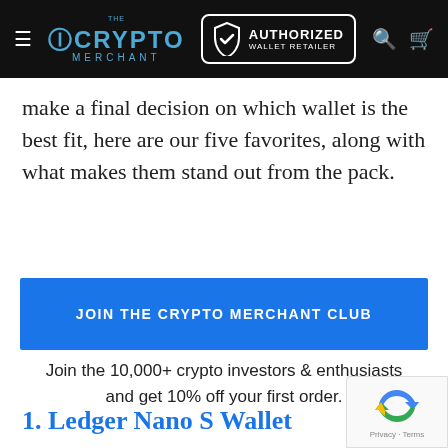The Crypto Merchant — Authorized Wallet Retailer
make a final decision on which wallet is the best fit, here are our five favorites, along with what makes them stand out from the pack.
[Figure (screenshot): Blue button with text JOIN THE CRYPTO MERCHANT CLUB]
Join the 10,000+ crypto investors & enthusiasts and get 10% off your first order.
1. Ledger Nano S Wallet